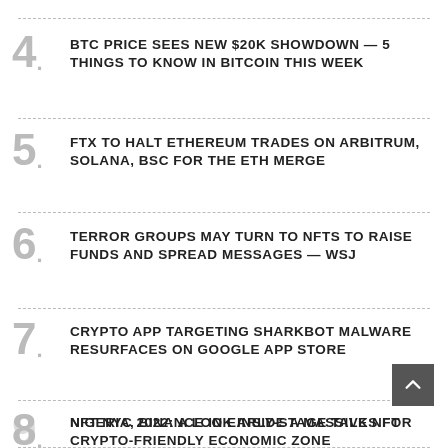4. BTC PRICE SEES NEW $20K SHOWDOWN — 5 THINGS TO KNOW IN BITCOIN THIS WEEK
5. FTX TO HALT ETHEREUM TRADES ON ARBITRUM, SOLANA, BSC FOR THE ETH MERGE
6. TERROR GROUPS MAY TURN TO NFTS TO RAISE FUNDS AND SPREAD MESSAGES — WSJ
7. CRYPTO APP TARGETING SHARKBOT MALWARE RESURFACES ON GOOGLE APP STORE
8. NIGERIA, BINANCE IN EARLY-STAGE TALKS FOR CRYPTO-FRIENDLY ECONOMIC ZONE
9. NFT NYC 2022: A LOOK INSIDE A MASSIVE NFT